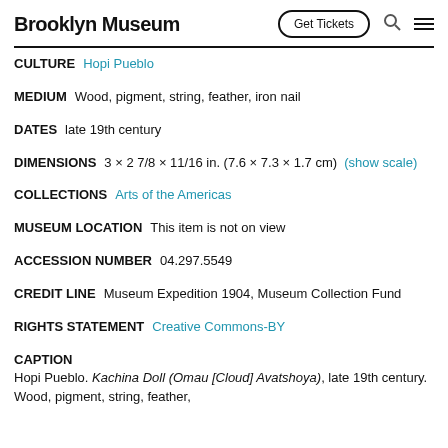Brooklyn Museum  Get Tickets
CULTURE  Hopi Pueblo
MEDIUM  Wood, pigment, string, feather, iron nail
DATES  late 19th century
DIMENSIONS  3 × 2 7/8 × 11/16 in. (7.6 × 7.3 × 1.7 cm)  (show scale)
COLLECTIONS  Arts of the Americas
MUSEUM LOCATION  This item is not on view
ACCESSION NUMBER  04.297.5549
CREDIT LINE  Museum Expedition 1904, Museum Collection Fund
RIGHTS STATEMENT  Creative Commons-BY
CAPTION  Hopi Pueblo. Kachina Doll (Omau [Cloud] Avatshoya), late 19th century. Wood, pigment, string, feather, iron nail. 3 × 2 7/8 × 11/16 in. (7.6 × 7.3 × 1.7 cm). Brooklyn...